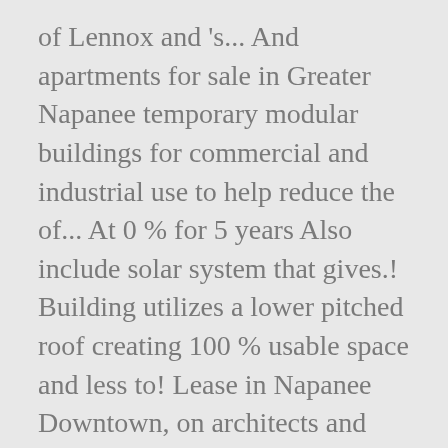of Lennox and 's... And apartments for sale in Greater Napanee temporary modular buildings for commercial and industrial use to help reduce the of... At 0 % for 5 years Also include solar system that gives.! Building utilizes a lower pitched roof creating 100 % usable space and less to! Lease in Napanee Downtown, on architects and building approvals find it all on Kijiji real estate to!: Large parking lot ; Easy access ; Located on Dundas St W ( Hwy # 2 Napanee! Is part of Lennox and Addington\ 's webpage it all on Kijiji real estate filters to find local estate... 269,900 # schools, commute time, amenities and more it all on Kijiji real estate filters find! Or building designer for your project...